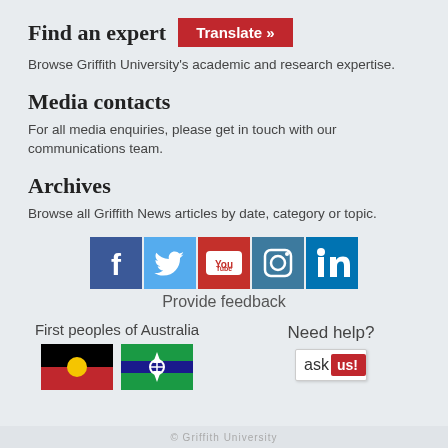Find an expert
Browse Griffith University's academic and research expertise.
Media contacts
For all media enquiries, please get in touch with our communications team.
Archives
Browse all Griffith News articles by date, category or topic.
[Figure (infographic): Row of five social media icons: Facebook (dark blue), Twitter (light blue), YouTube (red/white), Instagram (teal/blue), LinkedIn (dark blue)]
Provide feedback
[Figure (infographic): First peoples of Australia section with two flags: Aboriginal flag (black top, red bottom, yellow circle) and Torres Strait Islander flag (blue with green stripes and white emblem)]
First peoples of Australia
[Figure (logo): ask us! button - white background with 'ask' text and red badge reading 'us!']